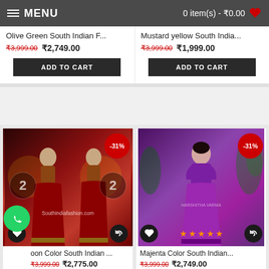MENU | 0 item(s) - ₹0.00
Olive Green South Indian F...
₹3,999.00  ₹2,749.00
ADD TO CART
Mustard yellow South India...
₹3,999.00  ₹1,999.00
ADD TO CART
[Figure (photo): Maroon/dark red South Indian fashion dress with -31% discount badge, heart and refresh icons at bottom]
oon Color South Indian ...
₹3,999.00  ₹2,775.00
[Figure (photo): Magenta/purple South Indian dress with 4-star rating, -31% discount badge, heart and refresh icons at bottom]
Majenta Color South Indian...
₹3,999.00  ₹2,749.00